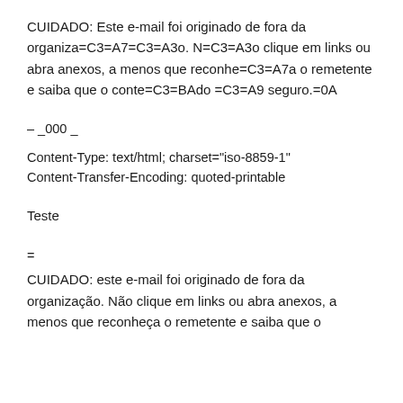CUIDADO: Este e-mail foi originado de fora da organiza=C3=A7=C3=A3o. N=C3=A3o clique em links ou abra anexos, a menos que reconhe=C3=A7a o remetente e saiba que o conte=C3=BAdo =C3=A9 seguro.=0A
– _000_
Content-Type: text/html; charset="iso-8859-1"
Content-Transfer-Encoding: quoted-printable
Teste
=
CUIDADO: este e-mail foi originado de fora da organização. Não clique em links ou abra anexos, a menos que reconheça o remetente e saiba que o